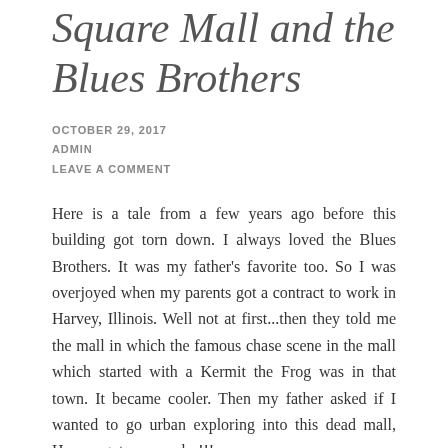Square Mall and the Blues Brothers
OCTOBER 29, 2017
ADMIN
LEAVE A COMMENT
Here is a tale from a few years ago before this building got torn down. I always loved the Blues Brothers. It was my father's favorite too. So I was overjoyed when my parents got a contract to work in Harvey, Illinois. Well not at first...then they told me the mall in which the famous chase scene in the mall which started with a Kermit the Frog was in that town. It became cooler. Then my father asked if I wanted to go urban exploring into this dead mall, Harvey got way cooler!!!